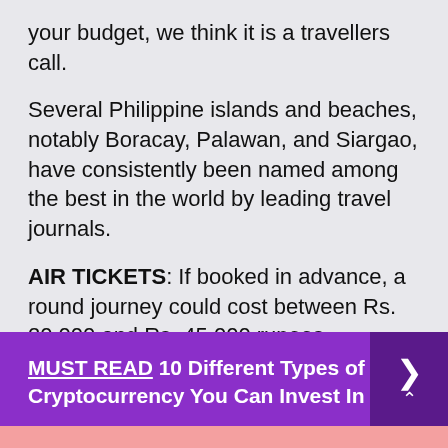your budget, we think it is a travellers call.
Several Philippine islands and beaches, notably Boracay, Palawan, and Siargao, have consistently been named among the best in the world by leading travel journals.
AIR TICKETS: If booked in advance, a round journey could cost between Rs. 20,000 and Rs. 45,000 rupees.
[Figure (infographic): Purple banner with 'MUST READ 10 Different Types of Cryptocurrency You Can Invest In' text and arrow button on right]
STAY: A week stay in Philippines will cost